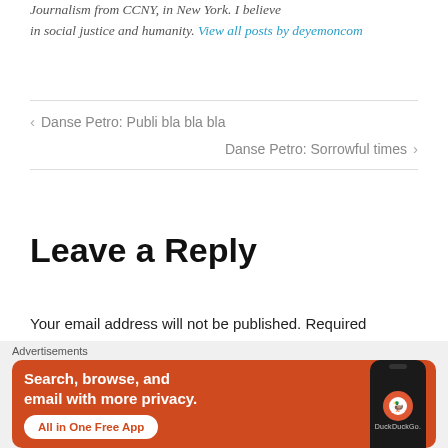Journalism from CCNY, in New York. I believe in social justice and humanity. View all posts by deyemoncom
< Danse Petro: Publi bla bla bla
Danse Petro: Sorrowful times >
Leave a Reply
Your email address will not be published. Required
[Figure (screenshot): DuckDuckGo advertisement banner: 'Search, browse, and email with more privacy. All in One Free App' with DuckDuckGo logo on phone graphic]